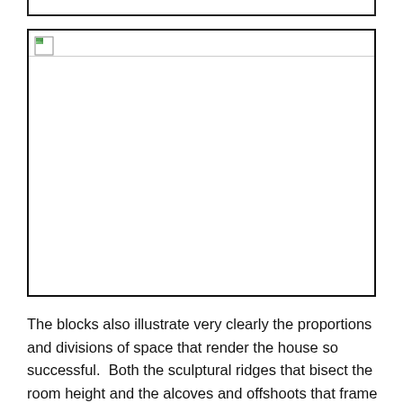[Figure (photo): A large image placeholder box with a broken image icon in the top-left corner and a thin horizontal divider line near the top. The image content is not loaded.]
The blocks also illustrate very clearly the proportions and divisions of space that render the house so successful.  Both the sculptural ridges that bisect the room height and the alcoves and offshoots that frame the walls and openings